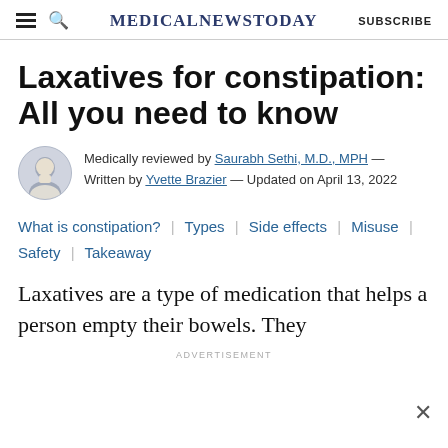MedicalNewsToday — SUBSCRIBE
Laxatives for constipation: All you need to know
Medically reviewed by Saurabh Sethi, M.D., MPH — Written by Yvette Brazier — Updated on April 13, 2022
What is constipation? | Types | Side effects | Misuse | Safety | Takeaway
Laxatives are a type of medication that helps a person empty their bowels. They
ADVERTISEMENT